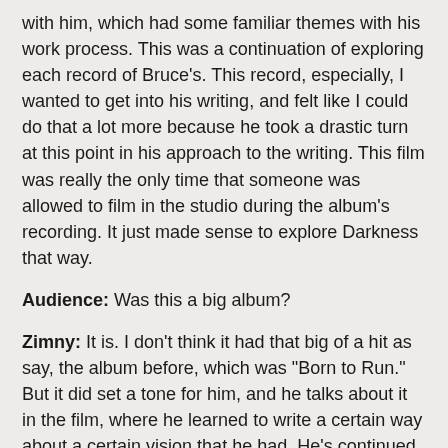Born to Run.' So that was my first experience working with him, which had some familiar themes with his work process. This was a continuation of exploring each record of Bruce's. This record, especially, I wanted to get into his writing, and felt like I could do that a lot more because he took a drastic turn at this point in his approach to the writing. This film was really the only time that someone was allowed to film in the studio during the album's recording. It just made sense to explore Darkness that way.
Audience: Was this a big album?
Zimny: It is. I don't think it had that big of a hit as say, the album before, which was "Born to Run." But it did set a tone for him, and he talks about it in the film, where he learned to write a certain way about a certain vision that he had. He's continued that.
STF: Did you say before that you're working on a new project with Bruce?